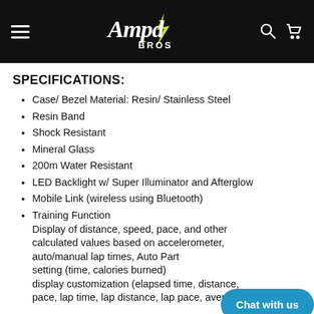Ampd Bros (logo header with hamburger menu, search and cart icons)
SPECIFICATIONS:
Case/ Bezel Material: Resin/ Stainless Steel
Resin Band
Shock Resistant
Mineral Glass
200m Water Resistant
LED Backlight w/ Super Illuminator and Afterglow
Mobile Link (wireless using Bluetooth)
Training Function
Display of distance, speed, pace, and other calculated values based on accelerometer, auto/manual lap times, Auto Pace alert setting (time, calories burned) display customization (elapsed time, distance, pace, lap time, lap distance, lap pace, average